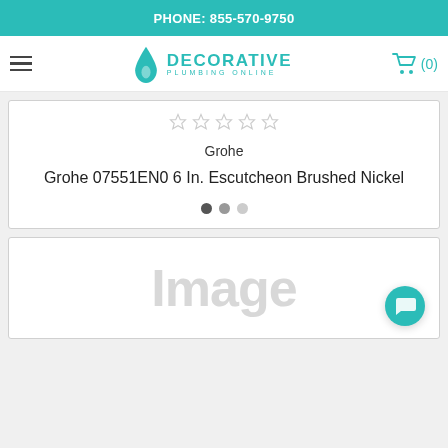PHONE: 855-570-9750
[Figure (logo): Decorative Plumbing Online logo with teal droplet icon and stylized text]
Grohe
Grohe 07551EN0 6 In. Escutcheon Brushed Nickel
[Figure (photo): Partial product image placeholder showing 'Image' text in light gray]